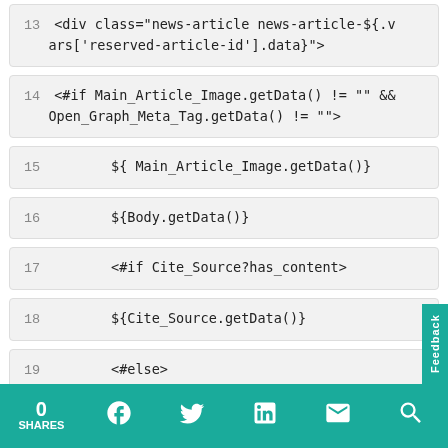13<div class="news-article news-article-${.vars['reserved-article-id'].data}">
14<#if Main_Article_Image.getData() != "" && Open_Graph_Meta_Tag.getData() != "">
15    ${ Main_Article_Image.getData()}
16    ${Body.getData()}
17    <#if Cite_Source?has_content>
18    ${Cite_Source.getData()}
19    <#else>
0 SHARES  [facebook] [twitter] [linkedin] [email] [search]